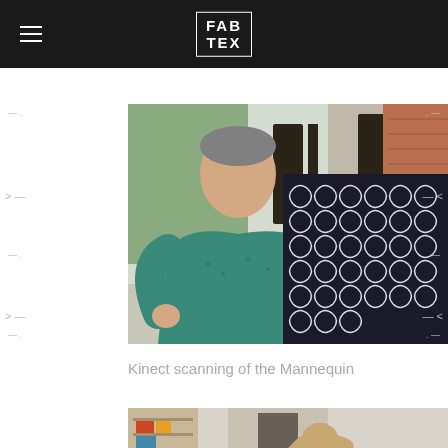FAB TEX
[Figure (photo): Man in teal shirt holding up a black and white geometric patterned fabric/textile in a workshop or studio setting]
Kinect scanning of the Mannequin
[Figure (photo): Partial view of a room with shelving on the left and a tan/beige mannequin torso in the foreground]